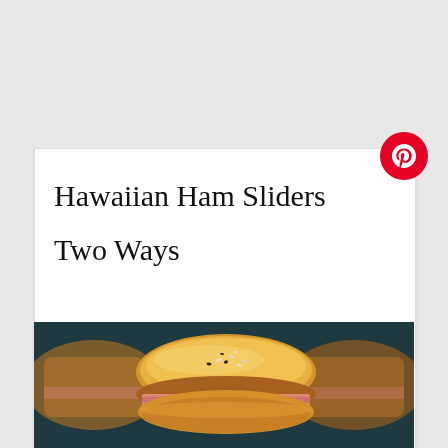Hawaiian Ham Sliders Two Ways
[Figure (photo): Close-up photo of Hawaiian ham sliders, golden-brown baked rolls filled with ham, topped with sesame seeds and poppy seeds, arranged together on a surface with a dark background.]